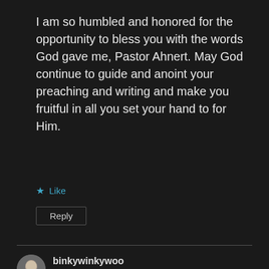I am so humbled and honored for the opportunity to bless you with the words God gave me, Pastor Ahnert. May God continue to guide and anoint your preaching and writing and make you fruitful in all you set your hand to for Him.
★ Like
Reply
binkywinkywoo
April 10, 2019 at 5:26 pm